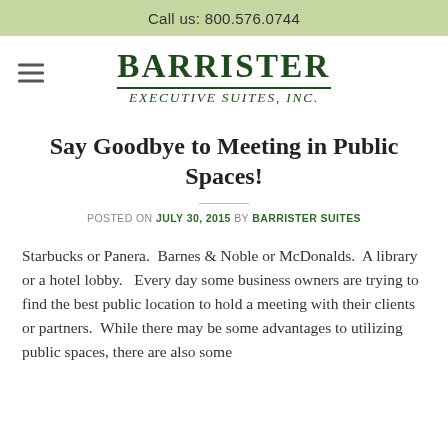Call us: 800.576.0744
[Figure (logo): Barrister Executive Suites, Inc. logo with hamburger menu icon to the left]
Say Goodbye to Meeting in Public Spaces!
POSTED ON JULY 30, 2015 BY BARRISTER SUITES
Starbucks or Panera.  Barnes & Noble or McDonalds.  A library or a hotel lobby.   Every day some business owners are trying to find the best public location to hold a meeting with their clients or partners.  While there may be some advantages to utilizing public spaces, there are also some